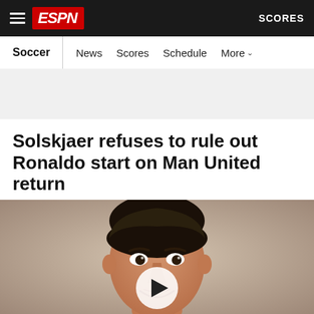ESPN — Soccer | News  Scores  Schedule  More
Solskjaer refuses to rule out Ronaldo start on Man United return
[Figure (photo): Video thumbnail showing Cristiano Ronaldo smiling, with a white circular play button overlay in the center of the image.]